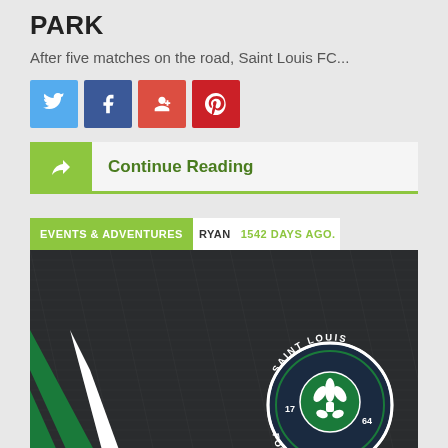PARK
After five matches on the road, Saint Louis FC...
[Figure (infographic): Social share buttons: Twitter (blue), Facebook (dark blue), Google+ (red), Pinterest (red)]
Continue Reading
EVENTS & ADVENTURES  RYAN  1542 DAYS AGO.
[Figure (photo): Close-up photo of a dark grey knit jersey fabric with a green and white stripe on the left side, and the Saint Louis Football Club circular crest logo on the right side. The crest features a fleur-de-lis on a dark background with the text SAINT LOUIS FOOTBALL CLUB around it.]